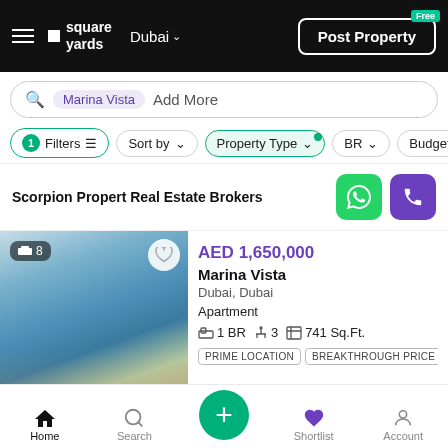square yards | Dubai | Post Property
Marina Vista Add More
1 Filters | Sort by | Property Type | BR | Budget
Scorpion Propert Real Estate Brokers
[Figure (photo): Interior photo of a luxury apartment with ocean view, modern furniture, white sofa, glass windows showing sea and sky]
AED 1,650,000
Marina Vista
Dubai, Dubai
Apartment
1 BR | 3 | 741 Sq.Ft.
PRIME LOCATION | BREAKTHROUGH PRICE | SAFE
Home | Search | + | Shortlist | Account